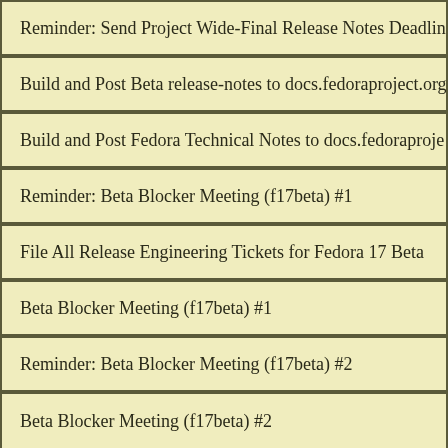Reminder: Send Project Wide-Final Release Notes Deadline
Build and Post Beta release-notes to docs.fedoraproject.org
Build and Post Fedora Technical Notes to docs.fedoraproject.org
Reminder: Beta Blocker Meeting (f17beta) #1
File All Release Engineering Tickets for Fedora 17 Beta
Beta Blocker Meeting (f17beta) #1
Reminder: Beta Blocker Meeting (f17beta) #2
Beta Blocker Meeting (f17beta) #2